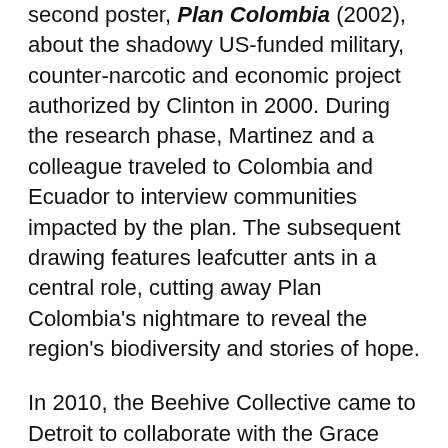second poster, Plan Colombia (2002), about the shadowy US-funded military, counter-narcotic and economic project authorized by Clinton in 2000. During the research phase, Martinez and a colleague traveled to Colombia and Ecuador to interview communities impacted by the plan. The subsequent drawing features leafcutter ants in a central role, cutting away Plan Colombia's nightmare to reveal the region's biodiversity and stories of hope.
In 2010, the Beehive Collective came to Detroit to collaborate with the Grace Lee Boggs-inspired initiative, Detroit Summer. During the project, Martinez worked with local youth to conduct oral research and create a photo collage. They eventually transferred this onto a screenprint that they could distribute back to the community.
Martinez enjoyed the cadence of life in Detroit, with its friendly people and strong work ethic, and decided it was